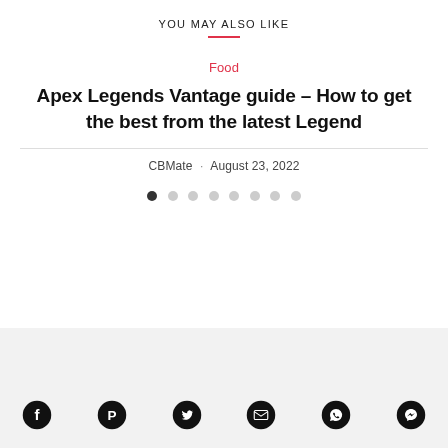YOU MAY ALSO LIKE
Food
Apex Legends Vantage guide – How to get the best from the latest Legend
CBMate · August 23, 2022
[Figure (other): Pagination dots: 8 dots, first dot filled black, remaining dots grey]
[Figure (other): Social share icons row: Facebook, Pinterest, Twitter, Email, WhatsApp, Messenger]